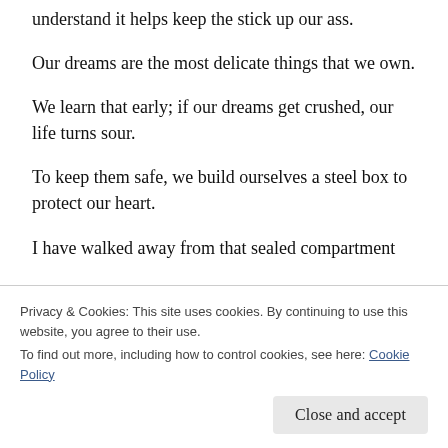understand it helps keep the stick up our ass.
Our dreams are the most delicate things that we own.
We learn that early; if our dreams get crushed, our life turns sour.
To keep them safe, we build ourselves a steel box to protect our heart.
I have walked away from that sealed compartment
Privacy & Cookies: This site uses cookies. By continuing to use this website, you agree to their use.
To find out more, including how to control cookies, see here: Cookie Policy
Close and accept
If we don't grow beyond our box, we are stunted